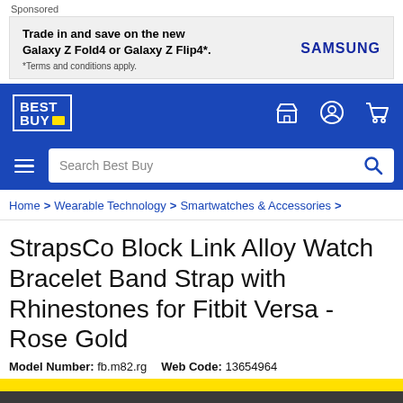Sponsored
[Figure (infographic): Samsung advertisement banner: 'Trade in and save on the new Galaxy Z Fold4 or Galaxy Z Flip4*. *Terms and conditions apply.' with SAMSUNG logo]
[Figure (logo): Best Buy logo in blue header bar with store, account, and cart icons]
[Figure (screenshot): Search bar with 'Search Best Buy' placeholder and magnifying glass icon on blue background with hamburger menu]
Home > Wearable Technology > Smartwatches & Accessories >
StrapsCo Block Link Alloy Watch Bracelet Band Strap with Rhinestones for Fitbit Versa - Rose Gold
Model Number: fb.m82.rg   Web Code: 13654964
Can't find your location